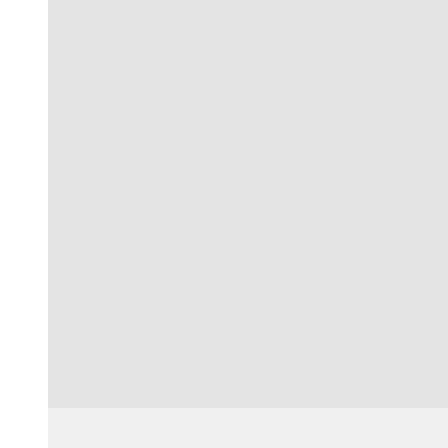Tie the Money Knot   Febr…
I really like the whole Jeremy L… teams, and despite not playing… better to have than most other…
Anyway, his perseverence, wo… advantage of this opportunity. … Bryant. Sometimes people just…
REPLY
Kris   February 18, 2012 at 1…
Wouldn't it be great to 'fall…
I loved how he beat Kobe,…
REPLY